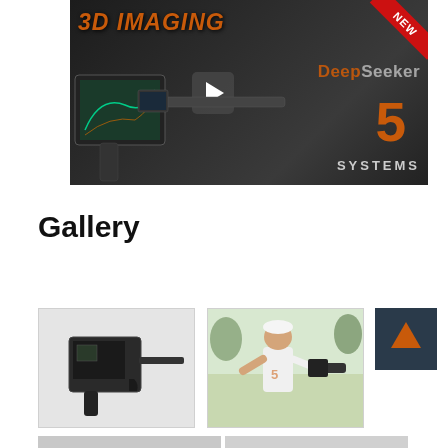[Figure (screenshot): Video thumbnail showing a 3D Imaging DeepSeeker 5 Systems device — a handheld metal detector with tablet display. Dark background with orange '3D IMAGING' text, red 'NEW' badge in top-right corner, play button in center, and 'DeepSeeker 5 SYSTEMS' branding text.]
Gallery
[Figure (photo): Photo of the DeepSeeker device from the side/front showing a compact handheld unit with a small screen, on white background.]
[Figure (photo): Photo of a man in white t-shirt and white cap holding and operating the DeepSeeker device outdoors.]
[Figure (other): Dark navigation arrow button (forward/next arrow in orange on dark background).]